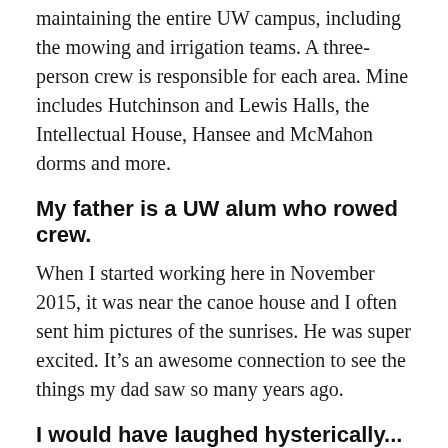maintaining the entire UW campus, including the mowing and irrigation teams. A three-person crew is responsible for each area. Mine includes Hutchinson and Lewis Halls, the Intellectual House, Hansee and McMahon dorms and more.
My father is a UW alum who rowed crew.
When I started working here in November 2015, it was near the canoe house and I often sent him pictures of the sunrises. He was super excited. It’s an awesome connection to see the things my dad saw so many years ago.
I would have laughed hysterically...
...if you told me 20 years ago I’d be doing this. When my son was 18 years old and applying for college loans, I decided to also take a swing at bettering myself. I applied and received grants that allowed